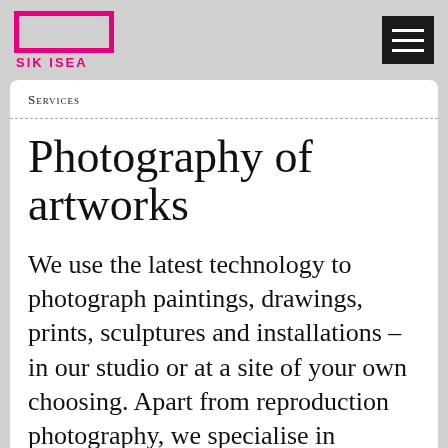SIK ISEA
Services
Photography of artworks
We use the latest technology to photograph paintings, drawings, prints, sculptures and installations – in our studio or at a site of your own choosing. Apart from reproduction photography, we specialise in scientific techniques such as multispectral photography and